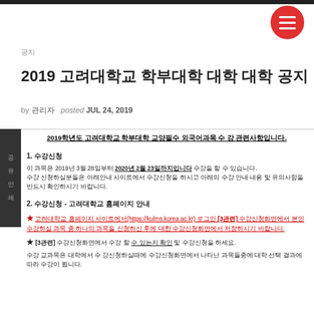공지
2019 고려대학교 학부대학 대학 대학 공지
by 관리자   posted Jul 24, 2019
2019학년도 고려대학교 학부대학 교양필수 외국어과목 수 강 관련사항입니다.
1. 수강신청
이 과목은 2019년 3월 28일부터 2020년 2월 23일까지입니다 수강을 할 수 있습니다.
수강 신청하실분들은 아래안내 사이트에서 수강신청을 하시고 아래의 수강 안내 내용 및 유의사항을 반드시 확인하시기 바랍니다.
2. 수강신청 - 고려대학교 홈페이지 안내
★ 고려대학교 홈페이지 사이트에서(https://kulms.korea.ac.kr) 로그인 [3관련] 수강신청화면에서 본인 수강하실 과목 중 하나의 과목을 신청하신 후에 대한 수강신청화면에서 저장하시기 바랍니다.
★ [3관련] 수강신청화면에서 수강 할 수 있는지 확인 및 수강신청을 하세요.
수강 교과목은 대학에서 수 강신청하실때에 수강신청화면에서 나타난 과목들중에 대학 선택 결과에 따라 수강이 됩니다.